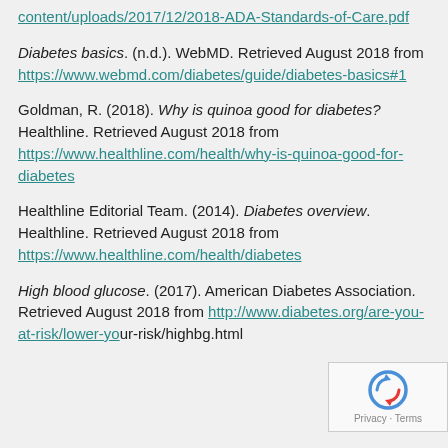content/uploads/2017/12/2018-ADA-Standards-of-Care.pdf
Diabetes basics. (n.d.). WebMD. Retrieved August 2018 from https://www.webmd.com/diabetes/guide/diabetes-basics#1
Goldman, R. (2018). Why is quinoa good for diabetes? Healthline. Retrieved August 2018 from https://www.healthline.com/health/why-is-quinoa-good-for-diabetes
Healthline Editorial Team. (2014). Diabetes overview. Healthline. Retrieved August 2018 from https://www.healthline.com/health/diabetes
High blood glucose. (2017). American Diabetes Association. Retrieved August 2018 from http://www.diabetes.org/are-you-at-risk/lower-your-risk/highbg.html